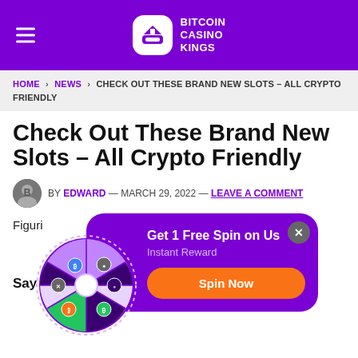Bitcoin Casino Kings
HOME > NEWS > CHECK OUT THESE BRAND NEW SLOTS – ALL CRYPTO FRIENDLY
Check Out These Brand New Slots – All Crypto Friendly
BY EDWARD — MARCH 29, 2022 — LEAVE A COMMENT
Figuring out the best new slots to play can be both t... did the w...
Say H...
[Figure (infographic): Popup modal with purple background showing a spinning wheel with crypto coin icons, title 'Get 1 Free Spin on Us', subtitle 'Instant Reward', and an orange 'Spin Now' button. A close (X) button is in the top right corner.]
If you are a fan of cryptocurrency you may also enjoy playing online slots from time to time. Most casinos, at least